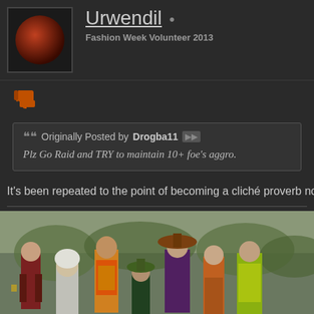[Figure (screenshot): User avatar: glowing red-orange sphere on dark background]
Urwendil •
Fashion Week Volunteer 2013
[Figure (other): Thumbs down reaction icon in orange-red color]
Originally Posted by Drogba11
Plz Go Raid and TRY to maintain 10+ foe's aggro.
It's been repeated to the point of becoming a cliché proverb now but it
[Figure (screenshot): Group of video game characters (LOTRO) standing together in colorful fantasy costumes in a courtyard setting]